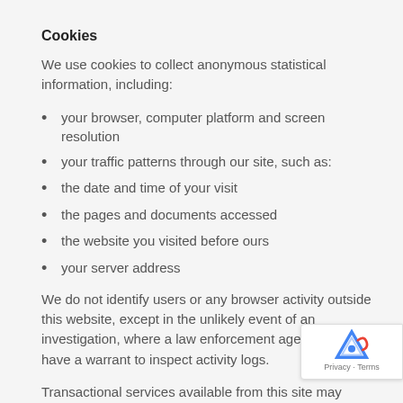Cookies
We use cookies to collect anonymous statistical information, including:
your browser, computer platform and screen resolution
your traffic patterns through our site, such as:
the date and time of your visit
the pages and documents accessed
the website you visited before ours
your server address
We do not identify users or any browser activity outside this website, except in the unlikely event of an investigation, where a law enforcement agency may have a warrant to inspect activity logs.
Transactional services available from this site may cookies to track business processes. Please read the